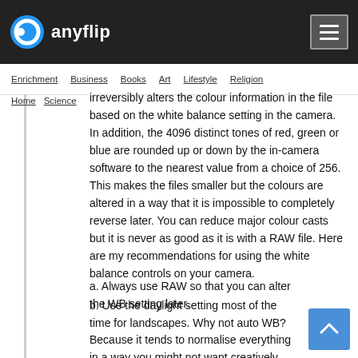anyflip
Enrichment  Business  Books  Art  Lifestyle  Religion
Home  Science
irreversibly alters the colour information in the file based on the white balance setting in the camera. In addition, the 4096 distinct tones of red, green or blue are rounded up or down by the in-camera software to the nearest value from a choice of 256. This makes the files smaller but the colours are altered in a way that it is impossible to completely reverse later. You can reduce major colour casts but it is never as good as it is with a RAW file. Here are my recommendations for using the white balance controls on your camera.
a. Always use RAW so that you can alter the WB setting later.
b. Use the daylight setting most of the time for landscapes. Why not auto WB? Because it tends to normalise everything in a way you might not want creatively.